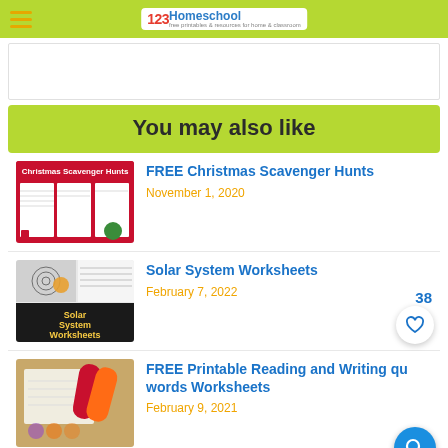123Homeschool
[Figure (other): Advertisement bar placeholder]
You may also like
FREE Christmas Scavenger Hunts
November 1, 2020
Solar System Worksheets
February 7, 2022
FREE Printable Reading and Writing qu words Worksheets
February 9, 2021
Edible Funfetti Playdough Recipe